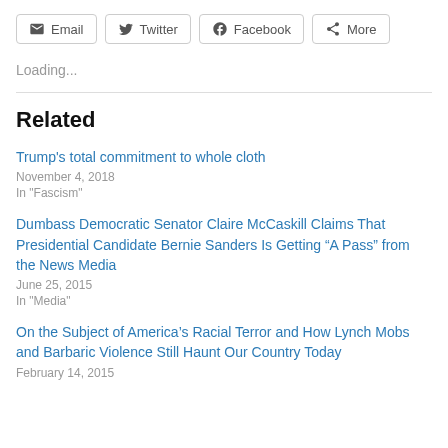[Figure (other): Share buttons row: Email, Twitter, Facebook, More]
Loading...
Related
Trump's total commitment to whole cloth
November 4, 2018
In "Fascism"
Dumbass Democratic Senator Claire McCaskill Claims That Presidential Candidate Bernie Sanders Is Getting “A Pass” from the News Media
June 25, 2015
In "Media"
On the Subject of America's Racial Terror and How Lynch Mobs and Barbaric Violence Still Haunt Our Country Today
February 14, 2015